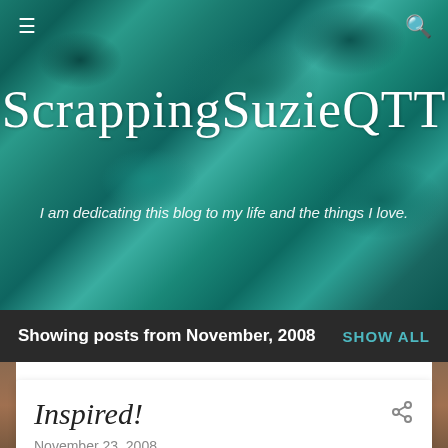[Figure (photo): Teal/turquoise aerial ocean water background image used as blog header]
ScrappingSuzieQTT
I am dedicating this blog to my life and the things I love.
Showing posts from November, 2008   SHOW ALL
Inspired!
November 23, 2008
I made this Christmas card for my sister, Donna. It was inspired by http://kwernerdesign.com/blog/2008/11/macm--merry-christmas-clear-card.html#comments Hope you enjoy!